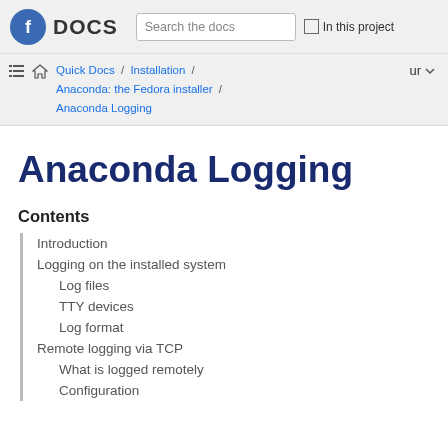DOCS | Search the docs | In this project
Quick Docs / Installation / Anaconda: the Fedora installer / Anaconda Logging  ur
Anaconda Logging
Contents
Introduction
Logging on the installed system
Log files
TTY devices
Log format
Remote logging via TCP
What is logged remotely
Configuration